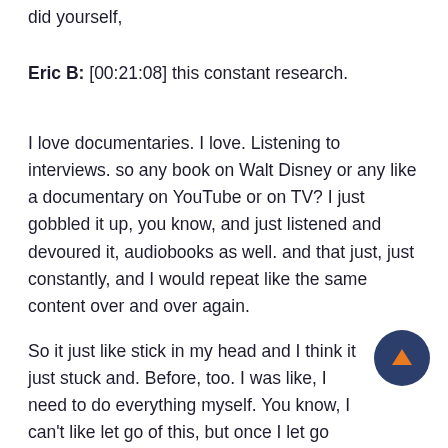did yourself,
Eric B: [00:21:08] this constant research.
I love documentaries. I love. Listening to interviews. so any book on Walt Disney or any like a documentary on YouTube or on TV? I just gobbled it up, you know, and just listened and devoured it, audiobooks as well. and that just, just constantly, and I would repeat like the same content over and over again.
So it just like stick in my head and I think it just stuck and. Before, too. I was like, I need to do everything myself. You know, I can't like let go of this, but once I let go and once it like hit me that, you know, if I want to make